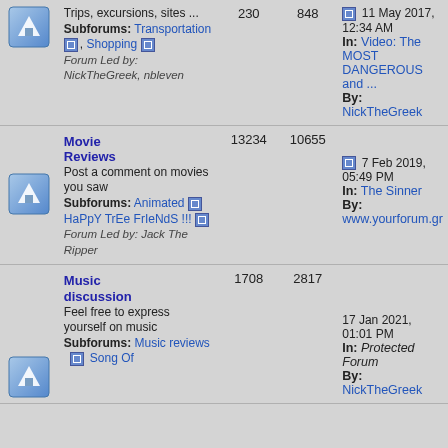|  | Forum | Posts | Topics | Last Post |
| --- | --- | --- | --- | --- |
| [icon] | Trips, excursions, sites ...
Subforums: Transportation, Shopping
Forum Led by: NickTheGreek, nbleven | 230 | 848 | 11 May 2017, 12:34 AM
In: Video: The MOST DANGEROUS and ...
By: NickTheGreek |
| [icon] | Movie Reviews
Post a comment on movies you saw
Subforums: Animated, HaPpY TrEe FrIeNdS !!!
Forum Led by: Jack The Ripper | 13234 | 10655 | 7 Feb 2019, 05:49 PM
In: The Sinner
By: www.yourforum.gr |
| [icon] | Music discussion
Feel free to express yourself on music
Subforums: Music reviews, Song Of ... | 1708 | 2817 | 17 Jan 2021, 01:01 PM
In: Protected Forum
By: NickTheGreek |